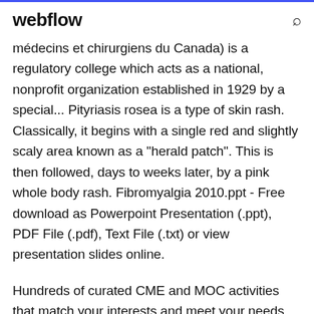webflow
médecins et chirurgiens du Canada) is a regulatory college which acts as a national, nonprofit organization established in 1929 by a special... Pityriasis rosea is a type of skin rash. Classically, it begins with a single red and slightly scaly area known as a "herald patch". This is then followed, days to weeks later, by a pink whole body rash. Fibromyalgia 2010.ppt - Free download as Powerpoint Presentation (.ppt), PDF File (.pdf), Text File (.txt) or view presentation slides online.
Hundreds of curated CME and MOC activities that match your interests and meet your needs for modular education, many free to members.